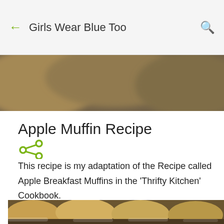Girls Wear Blue Too
[Figure (photo): Blurred hero photo of muffins at the top of the page]
Apple Muffin Recipe
[Figure (illustration): Share icon (three connected dots)]
This recipe is my adaptation of the Recipe called Apple Breakfast Muffins in the 'Thrifty Kitchen' Cookbook.
[Figure (photo): Photo of apple muffins in paper cases, with apple slices on top]